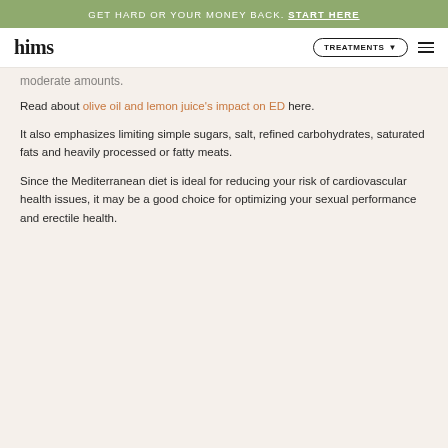GET HARD OR YOUR MONEY BACK. START HERE
hims | TREATMENTS
moderate amounts.
Read about olive oil and lemon juice's impact on ED here.
It also emphasizes limiting simple sugars, salt, refined carbohydrates, saturated fats and heavily processed or fatty meats.
Since the Mediterranean diet is ideal for reducing your risk of cardiovascular health issues, it may be a good choice for optimizing your sexual performance and erectile health.